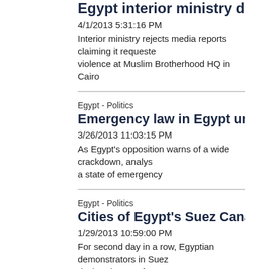Egypt interior ministry denies requesting s
4/1/2013 5:31:16 PM
Interior ministry rejects media reports claiming it requested violence at Muslim Brotherhood HQ in Cairo
Egypt - Politics
Emergency law in Egypt unlikely, for now:
3/26/2013 11:03:15 PM
As Egypt's opposition warns of a wide crackdown, analysts a state of emergency
Egypt - Politics
Cities of Egypt's Suez Canal protest curfew
1/29/2013 10:59:00 PM
For second day in a row, Egyptian demonstrators in Suez declared state of emergency